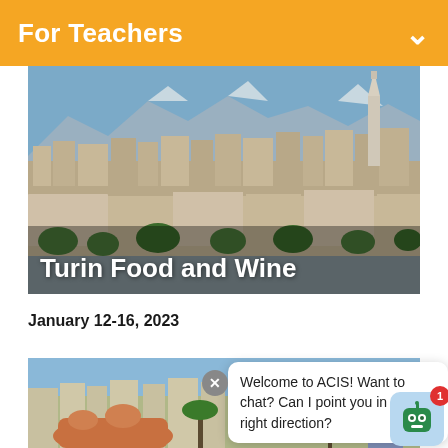For Teachers
[Figure (photo): Aerial panoramic view of Turin, Italy, with rooftops, the Mole Antonelliana tower, and mountains in the background. Text overlay reads 'Turin Food and Wine'.]
Turin Food and Wine
January 12-16, 2023
[Figure (photo): Partial view of Barcelona's Park Güell with colorful Gaudí architecture and city skyline, overlaid with a chatbot popup.]
Welcome to ACIS! Want to chat? Can I point you in the right direction?